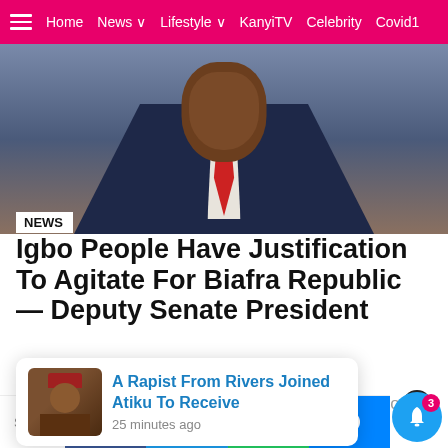Home  News  Lifestyle  KanyiTV  Celebrity  Covid
[Figure (photo): Man in dark suit with red tie, Nigerian official]
NEWS
Igbo People Have Justification To Agitate For Biafra Republic — Deputy Senate President
Omo-Agege has shown support for the agitations of Igbo people clamouring for Biafra Republic.
by Tobias Sylvester about a year ago
A Rapist From Rivers Joined Atiku To Receive  25 minutes ago